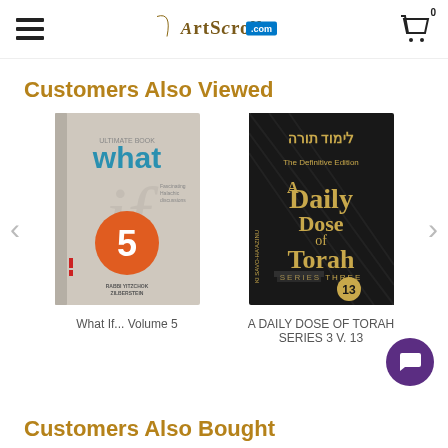ArtScroll.com
Customers Also Viewed
[Figure (illustration): Book cover: What If... Volume 5]
What If... Volume 5
[Figure (illustration): Book cover: A Daily Dose of Torah Series 3 V. 13]
A DAILY DOSE OF TORAH SERIES 3 V. 13
Customers Also Bought